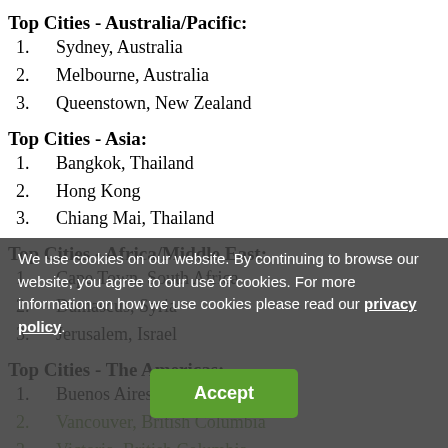Top Cities - Australia/Pacific:
1.  Sydney, Australia
2.  Melbourne, Australia
3.  Queenstown, New Zealand
Top Cities - Asia:
1.  Bangkok, Thailand
2.  Hong Kong
3.  Chiang Mai, Thailand
Top Cities - Africa/Middle East:
1.  Cape Town, South Africa
2.  Damascus, Syria
3.  Jerusalem, Israel
Top Cities - The Americas:
1.  Buenos Aires, Argentina
2.  Vancouver, British Columbia
3.  Victoria, British Columbia
Top Cities - Islands:
1.  Mykonos & the Cyclades, Greece
2.  Capri, Italy
3.  Sardinia, Italy
We use cookies on our website. By continuing to browse our website, you agree to our use of cookies. For more information on how we use cookies please read our privacy policy.